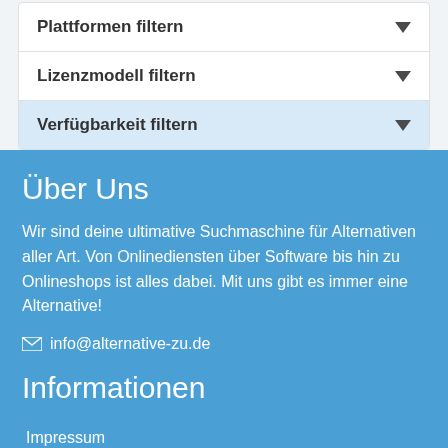Plattformen filtern
Lizenzmodell filtern
Verfügbarkeit filtern
Über Uns
Wir sind deine ultimative Suchmaschine für Alternativen aller Art. Von Onlinediensten über Software bis hin zu Onlineshops ist alles dabei. Mit uns gibt es immer eine Alternative!
info@alternative-zu.de
Informationen
Impressum
Datenschutzerklärung